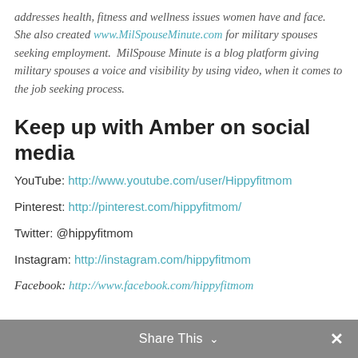addresses health, fitness and wellness issues women have and face.  She also created www.MilSpouseMinute.com for military spouses seeking employment.  MilSpouse Minute is a blog platform giving military spouses a voice and visibility by using video, when it comes to the job seeking process.
Keep up with Amber on social media
YouTube: http://www.youtube.com/user/Hippyfitmom
Pinterest: http://pinterest.com/hippyfitmom/
Twitter: @hippyfitmom
Instagram: http://instagram.com/hippyfitmom
Facebook: http://www.facebook.com/hippyfitmom
Share This ∨  ✕